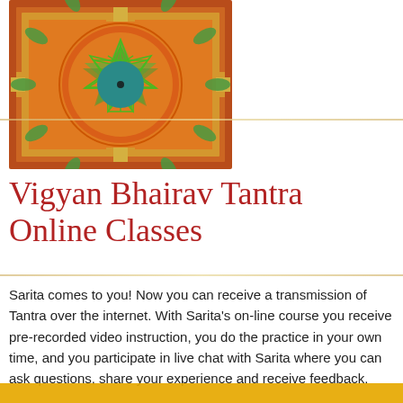[Figure (illustration): A Sri Yantra / mandala illustration on an orange-red background with gold border. The yantra features a star polygon with green geometric patterns, green lotus petals, and a teal central circle with a black dot at the center.]
Vigyan Bhairav Tantra Online Classes
Sarita comes to you! Now you can receive a transmission of Tantra over the internet. With Sarita's on-line course you receive pre-recorded video instruction, you do the practice in your own time, and you participate in live chat with Sarita where you can ask questions, share your experience and receive feedback.